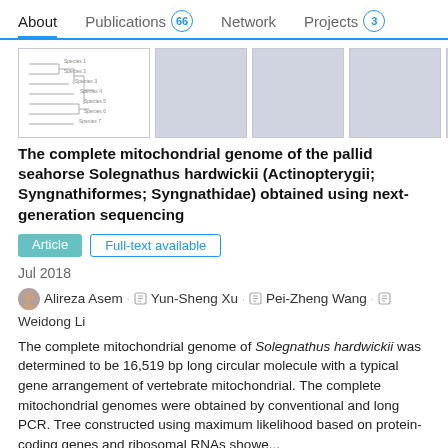About  Publications 66  Network  Projects 3
[Figure (other): Row of publication thumbnail images, first showing a phylogenetic tree diagram, others are blank gray placeholders]
The complete mitochondrial genome of the pallid seahorse Solegnathus hardwickii (Actinopterygii; Syngnathiformes; Syngnathidae) obtained using next-generation sequencing
Article  Full-text available
Jul 2018
Alireza Asem . Yun-Sheng Xu . Pei-Zheng Wang . Weidong Li
The complete mitochondrial genome of Solegnathus hardwickii was determined to be 16,519 bp long circular molecule with a typical gene arrangement of vertebrate mitochondrial. The complete mitochondrial genomes were obtained by conventional and long PCR. Tree constructed using maximum likelihood based on protein-coding genes and ribosomal RNAs showe...
View